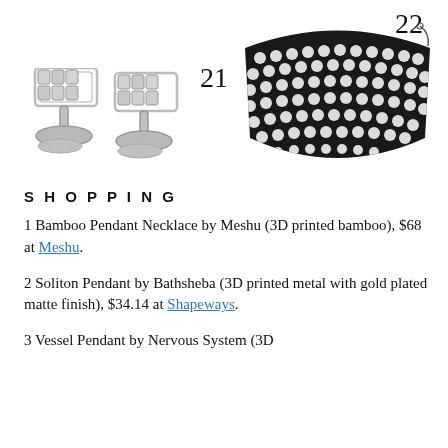[Figure (photo): Product photo showing silver cufflinks labeled 21 and a black mesh necklace/choker labeled 22 against white background]
SHOPPING
1 Bamboo Pendant Necklace by Meshu (3D printed bamboo), $68 at Meshu.
2 Soliton Pendant by Bathsheba (3D printed metal with gold plated matte finish), $34.14 at Shapeways.
3 Vessel Pendant by Nervous System (3D